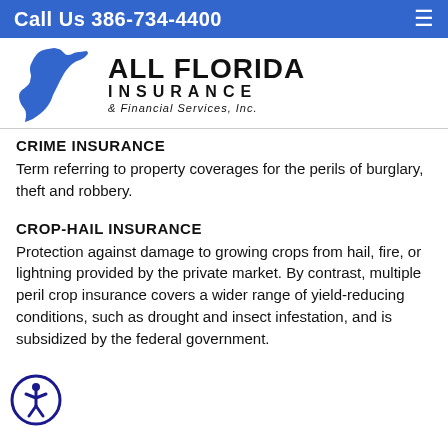Call Us 386-734-4400
[Figure (logo): All Florida Insurance & Financial Services, Inc. logo with Florida state silhouette in blue]
CRIME INSURANCE
Term referring to property coverages for the perils of burglary, theft and robbery.
CROP-HAIL INSURANCE
Protection against damage to growing crops from hail, fire, or lightning provided by the private market. By contrast, multiple peril crop insurance covers a wider range of yield-reducing conditions, such as drought and insect infestation, and is subsidized by the federal government.